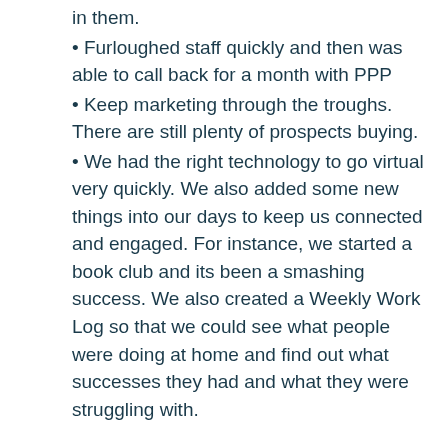in them.
• Furloughed staff quickly and then was able to call back for a month with PPP
• Keep marketing through the troughs. There are still plenty of prospects buying.
• We had the right technology to go virtual very quickly. We also added some new things into our days to keep us connected and engaged. For instance, we started a book club and its been a smashing success. We also created a Weekly Work Log so that we could see what people were doing at home and find out what successes they had and what they were struggling with.